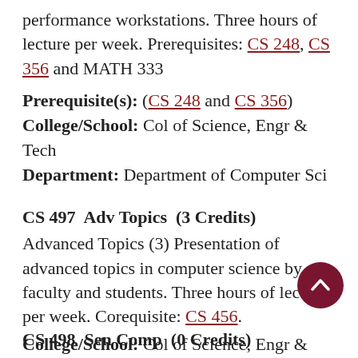performance workstations. Three hours of lecture per week. Prerequisites: CS 248, CS 356 and MATH 333
Prerequisite(s): (CS 248 and CS 356)
College/School: Col of Science, Engr & Tech
Department: Department of Computer Sci
CS 497  Adv Topics  (3 Credits)
Advanced Topics (3) Presentation of advanced topics in computer science by faculty and students. Three hours of lecture per week. Corequisite: CS 456.
College/School: Col of Science, Engr & Tech
Department: Department of Computer S
CS 498  Sen Comp  (0 Credits)